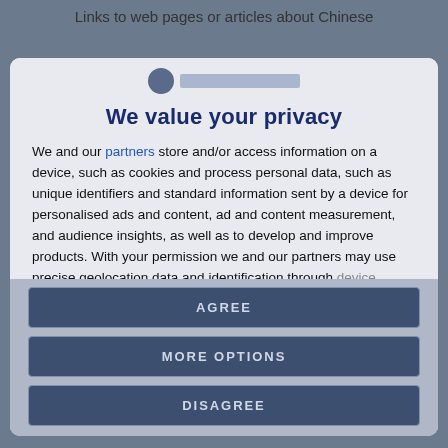Links to web pages or articles about Chinese
[Figure (logo): Website logo with globe icon and blue text bar]
We value your privacy
We and our partners store and/or access information on a device, such as cookies and process personal data, such as unique identifiers and standard information sent by a device for personalised ads and content, ad and content measurement, and audience insights, as well as to develop and improve products. With your permission we and our partners may use precise geolocation data and identification through device scanning. You may click to consent to our and our partners'
AGREE
MORE OPTIONS
DISAGREE